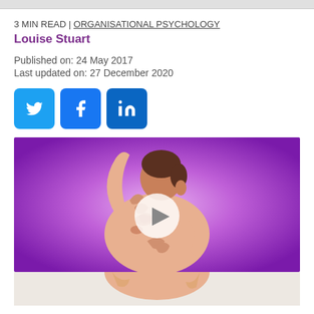3 MIN READ | ORGANISATIONAL PSYCHOLOGY
Louise Stuart
Published on: 24 May 2017
Last updated on: 27 December 2020
[Figure (infographic): Social sharing buttons for Twitter, Facebook, and LinkedIn]
[Figure (illustration): Medical or health illustration showing a person's back with an arm raised and hands touching the back, with a video play button overlay, on a purple/pink radial gradient background]